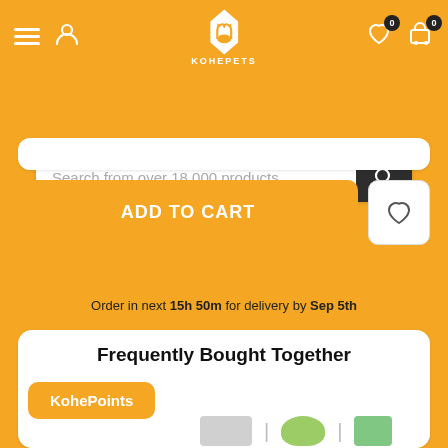[Figure (screenshot): KohePets mobile app header with orange background, hamburger menu, user icon, dog logo with KOHEPETS text, heart icon with 0 badge, cart icon with 0 badge]
Search from over 18,000 products
ADD TO CART
Order in next 15h 50m for delivery by Sep 5th
Frequently Bought Together
KohePoints